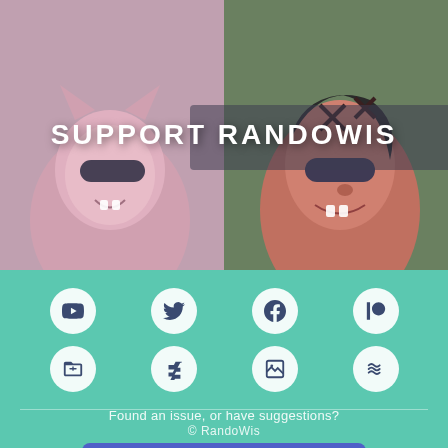[Figure (illustration): Comic-style illustration of two characters (a cat and a person) with sunglasses, with 'SUPPORT RANDOWIS' text overlay]
SUPPORT RANDOWIS
[Figure (infographic): 8 social media icon buttons in a 2-row grid: YouTube, Twitter, Facebook, Patreon (top row); folder/game icon, DeviantArt, image icon, waves icon (bottom row)]
Found an issue, or have suggestions?
Submit Feedback
© RandoWis